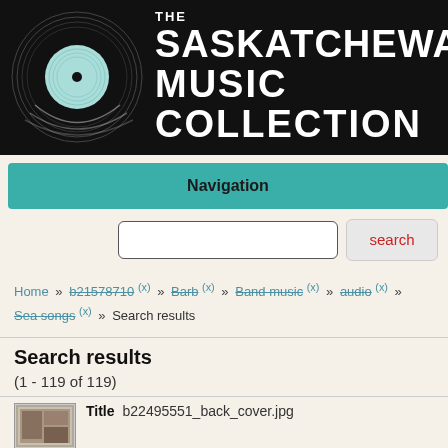[Figure (logo): The Saskatchewan Music Collection logo with a vinyl record on black background]
Navigation
Home » b21578710 (x) » Barb (x) » Band music (x) » audio (x) » Sea songs (x) » Search results
Search results
(1 - 119 of 119)
Title    b22495551_back_cover.jpg